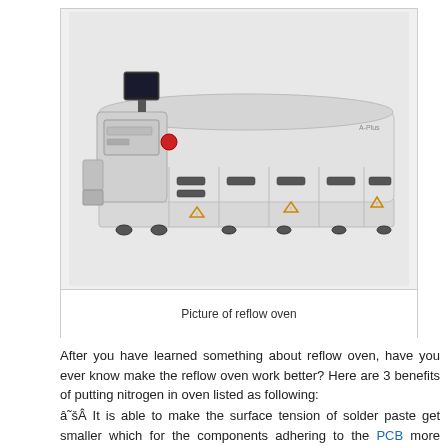[Figure (photo): Photograph of a large industrial reflow oven — a long white rectangular machine with a control panel and monitor on the left end, multiple compartment doors along the bottom, warning labels on the front panels, and rubber feet. The machine has a curved top profile.]
Picture of reflow oven
After you have learned something about reflow oven, have you ever know make the reflow oven work better? Here are 3 benefits of putting nitrogen in oven listed as following:
â˜šÂ It is able to make the surface tension of solder paste get smaller which for the components adhering to the PCB more easily.